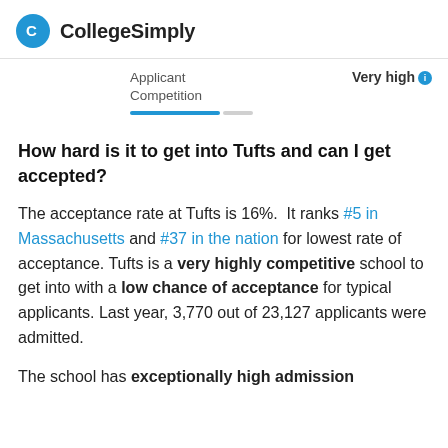CollegeSimply
Applicant Competition   Very high
How hard is it to get into Tufts and can I get accepted?
The acceptance rate at Tufts is 16%. It ranks #5 in Massachusetts and #37 in the nation for lowest rate of acceptance. Tufts is a very highly competitive school to get into with a low chance of acceptance for typical applicants. Last year, 3,770 out of 23,127 applicants were admitted.
The school has exceptionally high admission